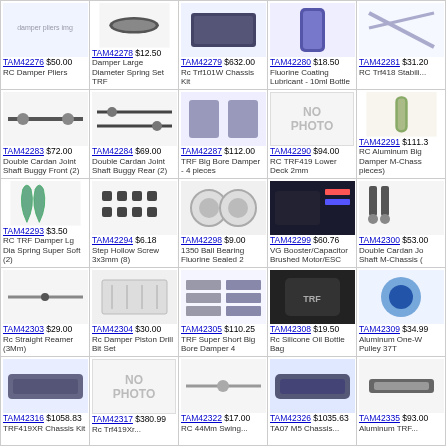| TAM42276 $50.00 RC Damper Pliers | TAM42278 $12.50 Damper Large Diameter Spring Set TRF | TAM42279 $632.00 Rc Trf101W Chassis Kit | TAM42280 $18.50 Fluorine Coating Lubricant - 10ml Bottle | TAM42281 $31.20 RC Trf418 Stabili... |
| TAM42283 $72.00 Double Cardan Joint Shaft Buggy Front (2) | TAM42284 $69.00 Double Cardan Joint Shaft Buggy Rear (2) | TAM42287 $112.00 TRF Big Bore Damper - 4 pieces | TAM42290 $94.00 RC TRF419 Lower Deck 2mm | TAM42291 $111.3 RC Aluminum Big Damper M-Chass pieces) |
| TAM42293 $3.50 RC TRF Damper Lg Dia Spring Super Soft (2) | TAM42294 $6.18 Step Hollow Screw 3x3mm (8) | TAM42298 $9.00 1350 Ball Bearing Fluorine Sealed 2 | TAM42299 $60.76 VG Booster/Capacitor Brushed Motor/ESC | TAM42300 $53.00 Double Cardan Jo Shaft M-Chassis ( |
| TAM42303 $29.00 Rc Straight Reamer (3Mm) | TAM42304 $30.00 Rc Damper Piston Drill Bit Set | TAM42305 $110.25 TRF Super Short Big Bore Damper 4 | TAM42308 $19.50 Rc Silicone Oil Bottle Bag | TAM42309 $34.99 Aluminum One-W Pulley 37T |
| TAM42316 $1058.83 TRF419XR Chassis Kit | TAM42317 $380.99 Rc Trf419Xr... | TAM42322 $17.00 RC 44Mm Swing... | TAM42326 $1035.63 TA07 M5 Chassis... | TAM42335 $93.00 Aluminum TRF... |